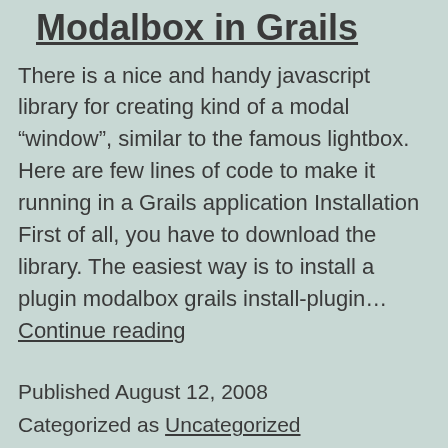Modalbox in Grails
There is a nice and handy javascript library for creating kind of a modal “window”, similar to the famous lightbox. Here are few lines of code to make it running in a Grails application Installation First of all, you have to download the library. The easiest way is to install a plugin modalbox grails install-plugin… Continue reading
Published August 12, 2008
Categorized as Uncategorized
Tagged Grails, Modalbox, Tutorial